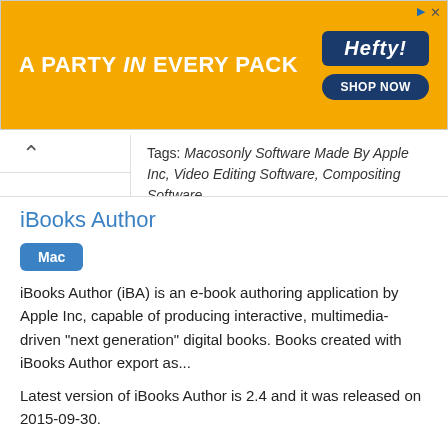[Figure (illustration): Hefty brand advertisement banner with orange background, text 'A PARTY in EVERY PACK', Hefty logo, and 'SHOP NOW' button]
Tags: Macosonly Software Made By Apple Inc, Video Editing Software, Compositing Software
iBooks Author
Mac
iBooks Author (iBA) is an e-book authoring application by Apple Inc, capable of producing interactive, multimedia-driven "next generation" digital books. Books created with iBooks Author export as...
Latest version of iBooks Author is 2.4 and it was released on 2015-09-30.
Tags: Apple Inc Software, Macosonly Software Made By Apple Inc, Macos Graphics Software, Typesetting Software, Desktop Publishing